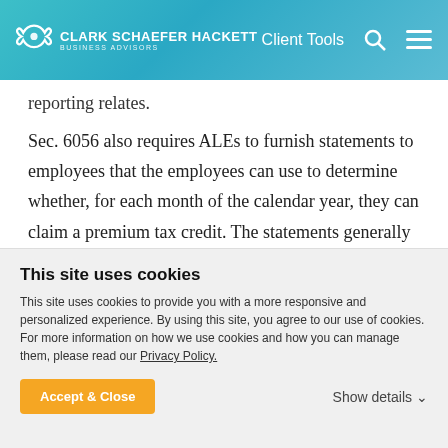CLARK SCHAEFER HACKETT | BUSINESS ADVISORS | Client Tools
reporting relates.
Sec. 6056 also requires ALEs to furnish statements to employees that the employees can use to determine whether, for each month of the calendar year, they can claim a premium tax credit. The statements generally must be provided by January 31 of the calendar year following the calendar year to which the
This site uses cookies
This site uses cookies to provide you with a more responsive and personalized experience. By using this site, you agree to our use of cookies. For more information on how we use cookies and how you can manage them, please read our Privacy Policy.
Accept & Close  Show details